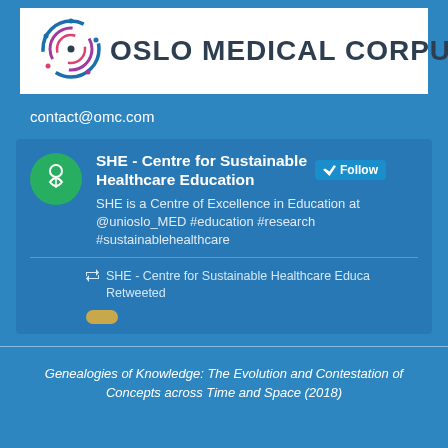[Figure (logo): Oslo Medical Corpus logo with circular icon featuring colorful rings and 'OSLO MEDICAL CORPUS' text]
contact@omc.com
[Figure (screenshot): Twitter/social media card for SHE - Centre for Sustainable Healthcare Education. Green avatar with leaf/person icon. Shows name, Follow button, bio text: 'SHE is a Centre of Excellence in Education at @unioslo_MED #education #research #sustainablehealthcare'. Below a retweet indicator: 'SHE - Centre for Sustainable Healthcare Educa Retweeted']
Genealogies of Knowledge: The Evolution and Contestation of Concepts across Time and Space (2018)